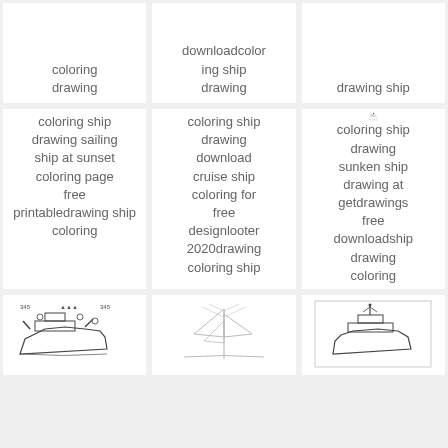coloring drawing
downloadcoloring ship drawing
drawing ship
[Figure (illustration): Carnival Ecstasy cruise ship line drawing with text 'CARNIVAL ECSTASY' above]
coloring ship drawing sunken ship drawing at getdrawings free downloadship drawing coloring
coloring ship drawing sailing ship at sunset coloring page free printabledrawing ship coloring
coloring ship drawing download cruise ship coloring for free designlooter 2020drawing coloring ship
[Figure (illustration): Small sketch of a ship/boat at bottom left]
[Figure (illustration): Small ship line art at bottom center]
[Figure (illustration): Ship drawing at bottom right]